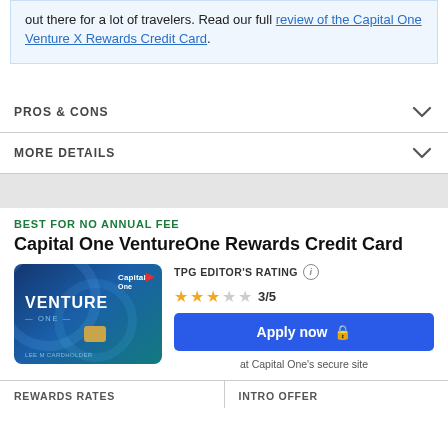out there for a lot of travelers. Read our full review of the Capital One Venture X Rewards Credit Card.
PROS & CONS
MORE DETAILS
BEST FOR NO ANNUAL FEE
Capital One VentureOne Rewards Credit Card
[Figure (photo): Capital One VentureOne Rewards Credit Card image showing blue card with VENTURE ONE text]
TPG EDITOR'S RATING ⓘ 3/5
Apply now at Capital One's secure site
REWARDS RATES
INTRO OFFER